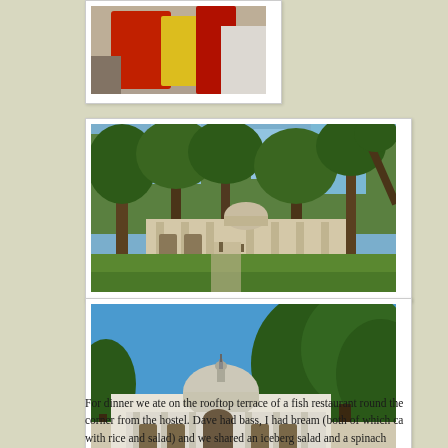[Figure (photo): Partial photo at top of page, showing colorful items (appears to be food or market goods with red and yellow colors), partially cropped]
[Figure (photo): Outdoor garden scene with tall trees and a historic building with a portico in the background, green grass lawn in foreground, blue sky]
[Figure (photo): Historic Ottoman-style building with a central dome and colonnaded porch, surrounded by large trees, blue sky background, people visible near entrance]
For dinner we ate on the rooftop terrace of a fish restaurant round the corner from the hostel. Dave had bass, I had bream (both of which ca with rice and salad) and we shared an iceberg salad and a spinach